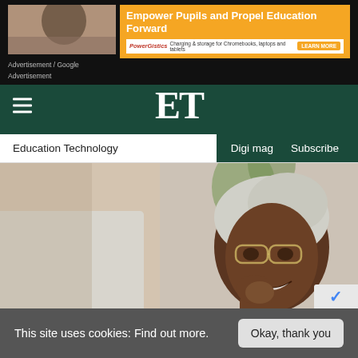[Figure (screenshot): Advertisement banner showing 'Empower Pupils and Propel Education Forward' with PowerGistics branding for Chromebook/laptop/tablet charging storage, with a LEARN MORE button. Text labels: 'Advertisement / Google' and 'Advertisement' below.]
ET
Education Technology   Digi mag   Subscribe
[Figure (photo): A smiling young Black woman wearing glasses and a white headwrap, dressed in a black top, leaning on her hand while using a laptop, photographed in an outdoor setting.]
This site uses cookies: Find out more.   Okay, thank you